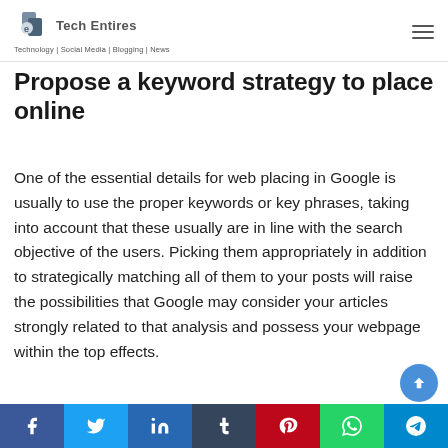Tech Entires — Technology | Social Media | Blogging | News
Propose a keyword strategy to place online
One of the essential details for web placing in Google is usually to use the proper keywords or key phrases, taking into account that these usually are in line with the search objective of the users. Picking them appropriately in addition to strategically matching all of them to your posts will raise the possibilities that Google may consider your articles strongly related to that analysis and possess your webpage within the top effects.
[Figure (other): Social share buttons bar: Facebook, Twitter, LinkedIn, Tumblr, Pinterest, WhatsApp, Telegram]